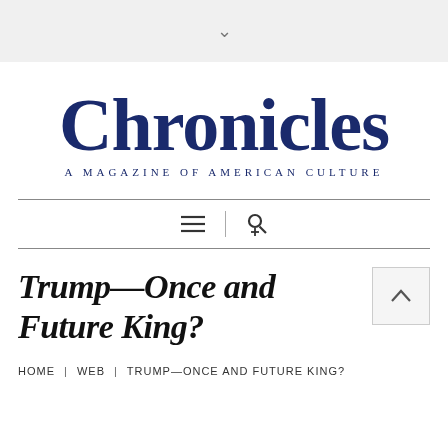∨
Chronicles — A Magazine of American Culture
[Figure (other): Navigation icons: hamburger menu and search/user icon with vertical divider]
Trump—Once and Future King?
HOME | WEB | TRUMP—ONCE AND FUTURE KING?